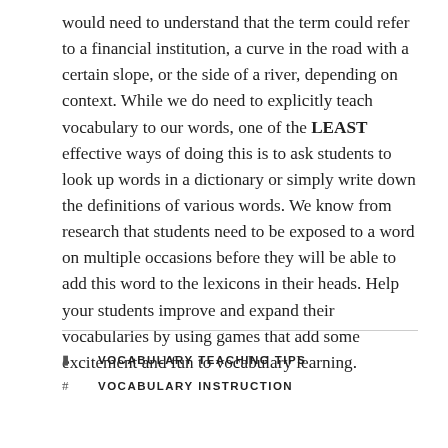would need to understand that the term could refer to a financial institution, a curve in the road with a certain slope, or the side of a river, depending on context. While we do need to explicitly teach vocabulary to our words, one of the LEAST effective ways of doing this is to ask students to look up words in a dictionary or simply write down the definitions of various words. We know from research that students need to be exposed to a word on multiple occasions before they will be able to add this word to the lexicons in their heads. Help your students improve and expand their vocabularies by using games that add some excitement and fun to vocabulary learning.
VOCABULARY TEACHING TIPS
VOCABULARY INSTRUCTION